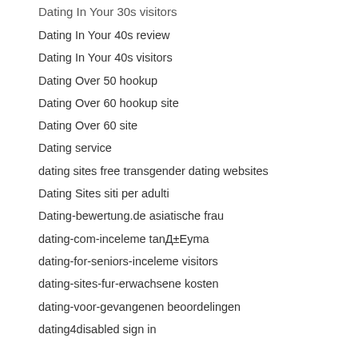Dating In Your 30s visitors
Dating In Your 40s review
Dating In Your 40s visitors
Dating Over 50 hookup
Dating Over 60 hookup site
Dating Over 60 site
Dating service
dating sites free transgender dating websites
Dating Sites siti per adulti
Dating-bewertung.de asiatische frau
dating-com-inceleme tanД±Eуma
dating-for-seniors-inceleme visitors
dating-sites-fur-erwachsene kosten
dating-voor-gevangenen beoordelingen
dating4disabled sign in